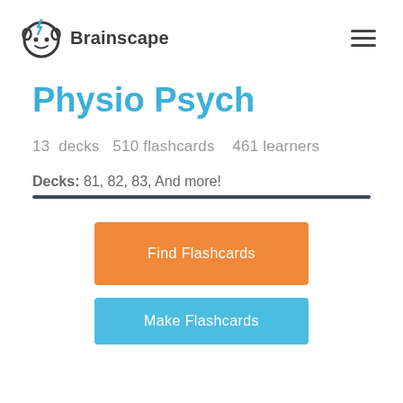Brainscape
Physio Psych
13 decks   510 flashcards   461 learners
Decks: 81, 82, 83, And more!
Find Flashcards
Make Flashcards